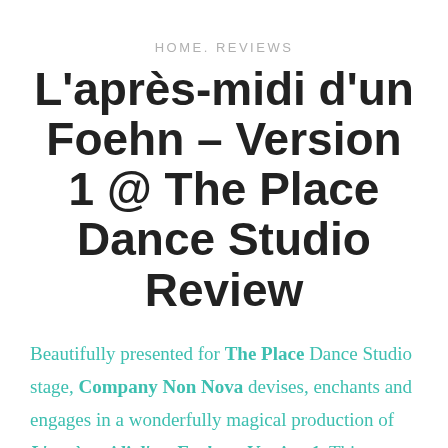HOME. REVIEWS
L'après-midi d'un Foehn – Version 1 @ The Place Dance Studio Review
Beautifully presented for The Place Dance Studio stage, Company Non Nova devises, enchants and engages in a wonderfully magical production of L'après-midi d'un Foehn – Version 1. This